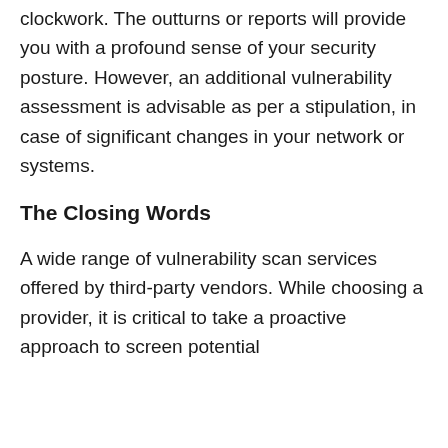clockwork. The outturns or reports will provide you with a profound sense of your security posture. However, an additional vulnerability assessment is advisable as per a stipulation, in case of significant changes in your network or systems.
The Closing Words
A wide range of vulnerability scan services offered by third-party vendors. While choosing a provider, it is critical to take a proactive approach to screen potential